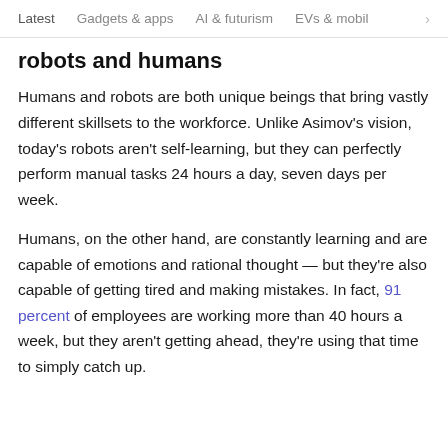Latest   Gadgets & apps   AI & futurism   EVs & mobil  >
robots and humans
Humans and robots are both unique beings that bring vastly different skillsets to the workforce. Unlike Asimov's vision, today's robots aren't self-learning, but they can perfectly perform manual tasks 24 hours a day, seven days per week.
Humans, on the other hand, are constantly learning and are capable of emotions and rational thought — but they're also capable of getting tired and making mistakes. In fact, 91 percent of employees are working more than 40 hours a week, but they aren't getting ahead, they're using that time to simply catch up.